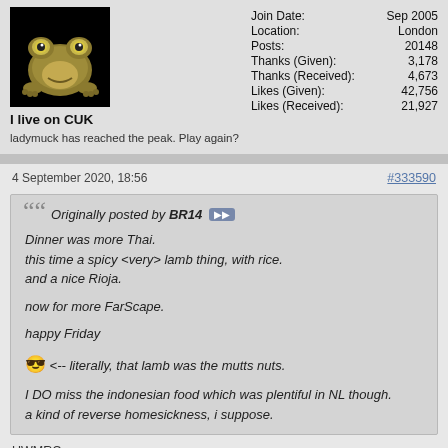[Figure (illustration): Cartoon frog avatar on black background]
I live on CUK
ladymuck has reached the peak. Play again?
| Join Date: | Sep 2005 |
| Location: | London |
| Posts: | 20148 |
| Thanks (Given): | 3,178 |
| Thanks (Received): | 4,673 |
| Likes (Given): | 42,756 |
| Likes (Received): | 21,927 |
4 September 2020, 18:56
#333590
Originally posted by BR14
Dinner was more Thai.
this time a spicy <very> lamb thing, with rice.
and a nice Rioja.

now for more FarScape.

happy Friday

😎 <-- literally, that lamb was the mutts nuts.

I DO miss the indonesian food which was plentiful in NL though.
a kind of reverse homesickness, i suppose.
UWMRC...